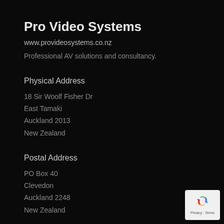Pro Video Systems
www.provideosystems.co.nz
Professional AV solutions and consultancy.
Physical Address
18 Sir Woolf Fisher Dr
East Tamaki
Auckland 2013
New Zealand
Postal Address
PO Box 40
Clevedon
Auckland 2248
New Zealand
[Figure (logo): Google reCAPTCHA badge with recycling-arrow icon and Privacy - Terms text]